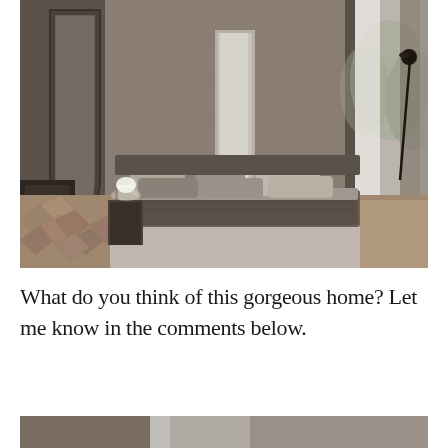[Figure (photo): A modern minimalist bedroom with a low platform bed, grey bedding, concrete-textured walls, arched doorway, large floor-to-ceiling windows with sheer white curtains, herringbone wood floor, and a seating area with a round coffee table and chair visible on the right.]
What do you think of this gorgeous home? Let me know in the comments below.
[Figure (photo): Partial view of another interior room photo, partially cropped at the bottom edge of the page.]